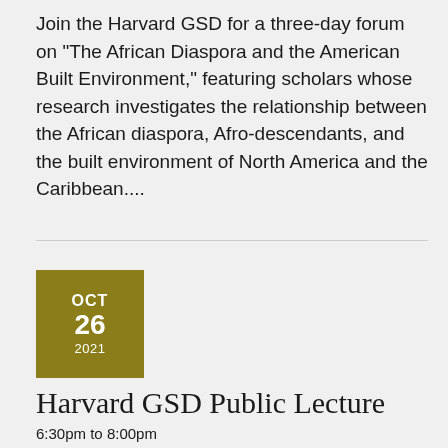Join the Harvard GSD for a three-day forum on "The African Diaspora and the American Built Environment," featuring scholars whose research investigates the relationship between the African diaspora, Afro-descendants, and the built environment of North America and the Caribbean....
[Figure (other): Olive/gold colored square date badge showing OCT 26 2021]
Harvard GSD Public Lecture
6:30pm to 8:00pm
Location: Zoom